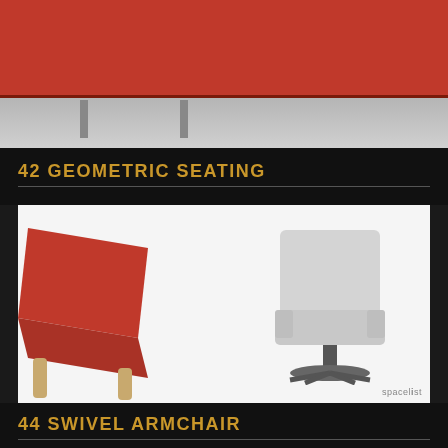[Figure (photo): Close-up of red geometric furniture piece (sofa or bench) with metal legs on a gray floor, photographed from below]
42 GEOMETRIC SEATING
[Figure (photo): Two armchairs: a red low-profile chair with wooden legs on the left, and a gray high-back swivel armchair with a star base on the right, on white background. Spacelist watermark in bottom-right corner.]
44 SWIVEL ARMCHAIR